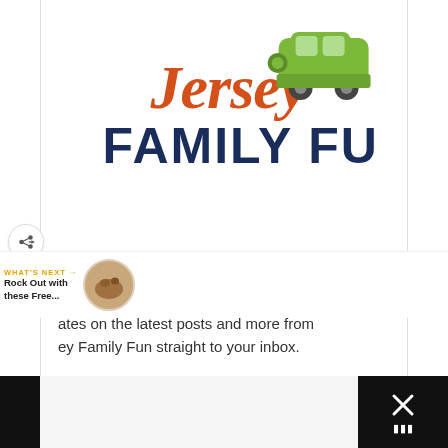[Figure (logo): Jersey Family Fun logo with orange cursive 'Jersey' text, dark navy bold 'FAMILY FUN' text, and a green cartoon car illustration on top right of the text]
[Figure (infographic): Teal circular like/heart button with count '1.7K' below it, and a share button (arrow icon) beneath that]
Subscribe to Jersey Family Fun!
ates on the latest posts and more from ey Family Fun straight to your inbox.
WHAT'S NEXT → Rock Out with these Free...
[Figure (photo): Small circular thumbnail photo next to 'What's Next' content]
[Figure (other): Bottom black bars with X close button and dots icon on the right side]